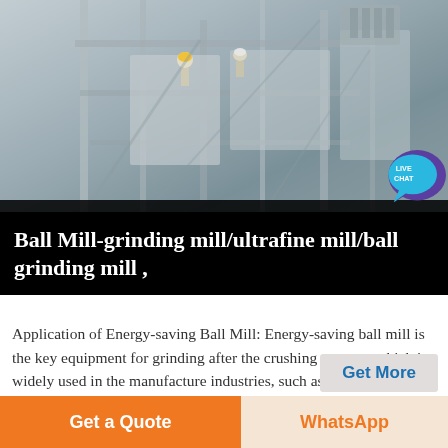[Figure (photo): Aerial/elevated view of industrial scaffold/mill structure with workers, metallic framework, industrial building components]
Ball Mill-grinding mill/ultrafine mill/ball grinding mill ,
Application of Energy-saving Ball Mill: Energy-saving ball mill is the key equipment for grinding after the crushing process, which is widely used in the manufacture industries, such as cement, silicate, new building material, refractory material, fertilizer, ferrous metal, nonferrous metal and glass ceramics and can be used for the dry and wet grinding for all kinds of ores and other grind ,
Get More
Get a Quote
WhatsApp